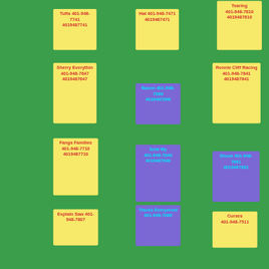Tufts 401-948-7741 4019487741
Hat 401-948-7471 4019487471
Tearing 401-948-7810 4019487810
Sherry Everythin 401-948-7647 4019487647
Bacon 401-948-7096 4019487096
Ronnie Cliff Racing 401-948-7841 4019487841
Fangs Families 401-948-7710 4019487710
Sold My 401-948-7040 4019487040
Shock 401-948-7061 4019487061
Explain Saw 401-948-7807
Tracks Everyoned 401-948-7086
Curses 401-948-7511